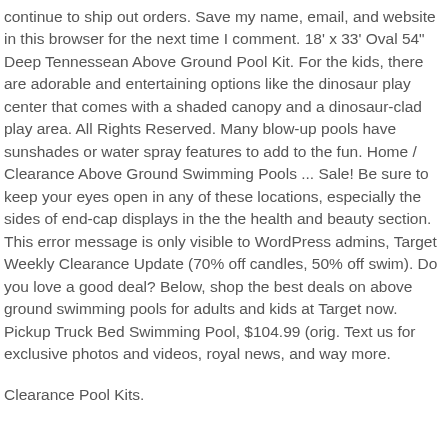continue to ship out orders. Save my name, email, and website in this browser for the next time I comment. 18' x 33' Oval 54" Deep Tennessean Above Ground Pool Kit. For the kids, there are adorable and entertaining options like the dinosaur play center that comes with a shaded canopy and a dinosaur-clad play area. All Rights Reserved. Many blow-up pools have sunshades or water spray features to add to the fun. Home / Clearance Above Ground Swimming Pools ... Sale! Be sure to keep your eyes open in any of these locations, especially the sides of end-cap displays in the the health and beauty section. This error message is only visible to WordPress admins, Target Weekly Clearance Update (70% off candles, 50% off swim). Do you love a good deal? Below, shop the best deals on above ground swimming pools for adults and kids at Target now. Pickup Truck Bed Swimming Pool, $104.99 (orig. Text us for exclusive photos and videos, royal news, and way more.
Clearance Pool Kits.